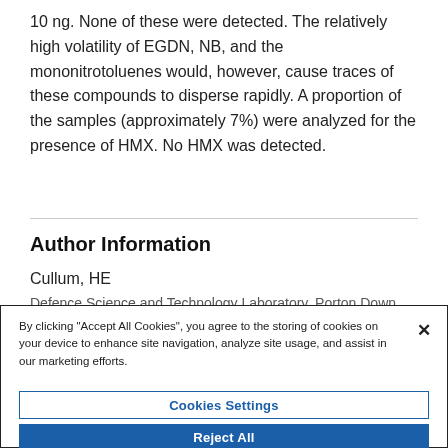10 ng. None of these were detected. The relatively high volatility of EGDN, NB, and the mononitrotoluenes would, however, cause traces of these compounds to disperse rapidly. A proportion of the samples (approximately 7%) were analyzed for the presence of HMX. No HMX was detected.
Author Information
Cullum, HE
By clicking "Accept All Cookies", you agree to the storing of cookies on your device to enhance site navigation, analyze site usage, and assist in our marketing efforts.
Cookies Settings
Reject All